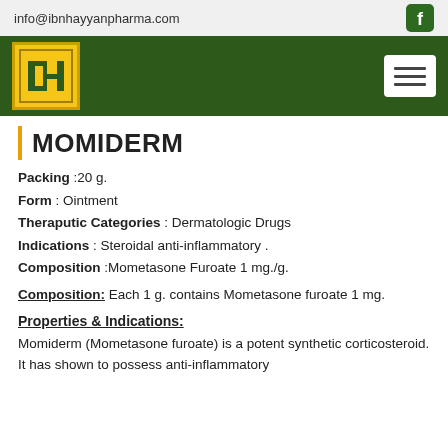info@ibnhayyanpharma.com
[Figure (logo): Ibn Hayyan Pharma logo - IH monogram in green on yellow/gold background with dark green navigation bar and hamburger menu]
MOMIDERM
Packing :20 g.
Form : Ointment
Theraputic Categories : Dermatologic Drugs
Indications : Steroidal anti-inflammatory .
Composition :Mometasone Furoate 1 mg./g.
Composition: Each 1 g. contains Mometasone furoate 1 mg.
Properties & Indications:
Momiderm (Mometasone furoate) is a potent synthetic corticosteroid. It has shown to possess anti-inflammatory